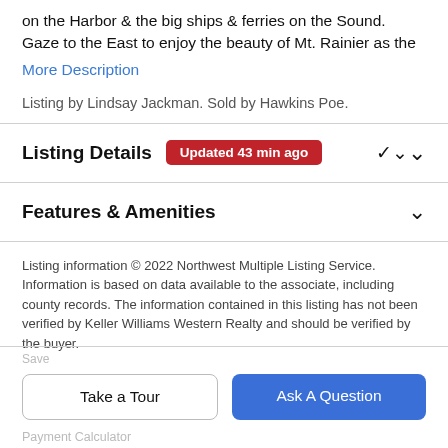on the Harbor & the big ships & ferries on the Sound. Gaze to the East to enjoy the beauty of Mt. Rainier as the
More Description
Listing by Lindsay Jackman. Sold by Hawkins Poe.
Listing Details Updated 43 min ago
Features & Amenities
Listing information © 2022 Northwest Multiple Listing Service. Information is based on data available to the associate, including county records. The information contained in this listing has not been verified by Keller Williams Western Realty and should be verified by the buyer.
Take a Tour
Ask A Question
Payment Calculator